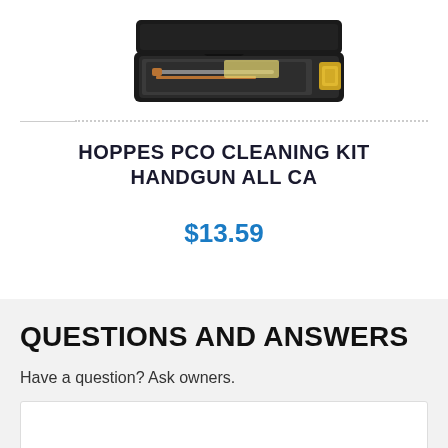[Figure (photo): Product photo of Hoppes PCO Cleaning Kit Handgun in a black case, partially visible at top of page]
HOPPES PCO CLEANING KIT HANDGUN ALL CA
$13.59
QUESTIONS AND ANSWERS
Have a question? Ask owners.